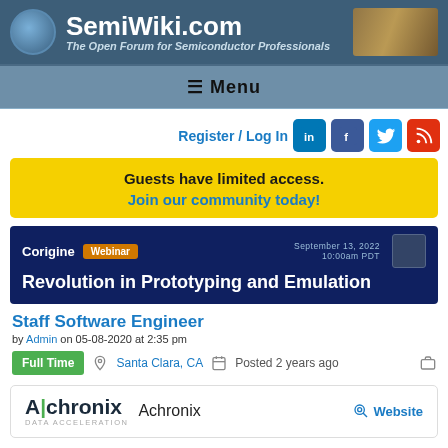SemiWiki.com – The Open Forum for Semiconductor Professionals
≡ Menu
Register / Log In
Guests have limited access.
Join our community today!
[Figure (screenshot): Corigine Webinar banner: Revolution in Prototyping and Emulation, September 13, 2022 10:00am PDT]
Staff Software Engineer
by Admin on 05-08-2020 at 2:35 pm
Full Time  Santa Clara, CA  Posted 2 years ago
Achronix  Website